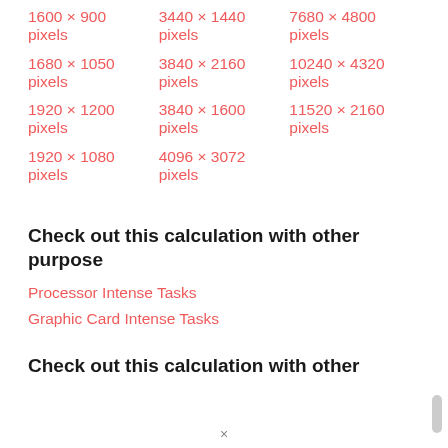1600 × 900 pixels
1680 × 1050 pixels
1920 × 1200 pixels
1920 × 1080 pixels
3440 × 1440 pixels
3840 × 2160 pixels
3840 × 1600 pixels
4096 × 3072 pixels
7680 × 4800 pixels
10240 × 4320 pixels
11520 × 2160 pixels
Check out this calculation with other purpose
Processor Intense Tasks
Graphic Card Intense Tasks
Check out this calculation with other